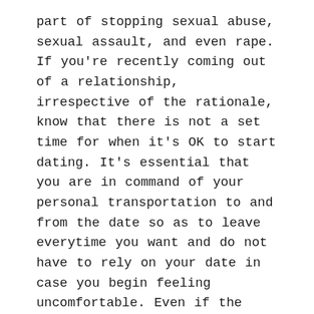part of stopping sexual abuse, sexual assault, and even rape. If you're recently coming out of a relationship, irrespective of the rationale, know that there is not a set time for when it's OK to start dating. It's essential that you are in command of your personal transportation to and from the date so as to leave everytime you want and do not have to rely on your date in case you begin feeling uncomfortable. Even if the person you are meeting volunteers to choose you up, avoid getting right into a car with someone you don't know and belief, particularly if it's the primary assembly.
[newline]For your first date, keep away from meeting somebody you don't know properly but in your house, condo, or office. It could make